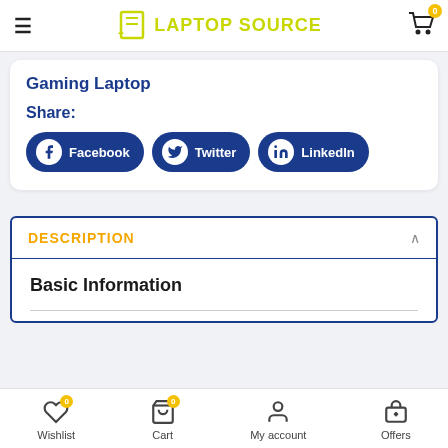Laptop Source
Gaming Laptop
Share:
[Figure (infographic): Share buttons for Facebook, Twitter, and LinkedIn]
DESCRIPTION
Basic Information
Wishlist  Cart  My account  Offers